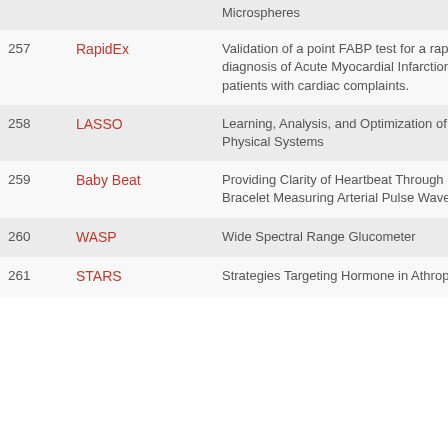| No. | Name | Description |
| --- | --- | --- |
|  |  | Microspheres |
| 257 | RapidEx | Validation of a point FABP test for a rapid diagnosis of Acute Myocardial Infarction in patients with cardiac complaints. |
| 258 | LASSO | Learning, Analysis, and Optimization of Physical Systems |
| 259 | Baby Beat | Providing Clarity of Heartbeat Through Bracelet Measuring Arterial Pulse Wave |
| 260 | WASP | Wide Spectral Range Glucometer |
| 261 | STARS | Strategies Targeting Hormone in Athropathy |